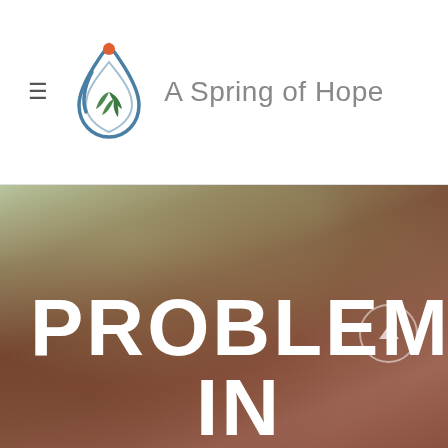[Figure (logo): A Spring of Hope logo — a stylized water droplet with green leaf inside and orange dot on top, next to the text 'A Spring of Hope' in gray]
[Figure (photo): Close-up photograph of dark brown human skin texture, appearing warm-toned with visible pores and surface texture. Overlaid with large white bold text reading 'PROBLEMS' and 'IN'. A semi-transparent circular scroll-up arrow button is visible on the right side.]